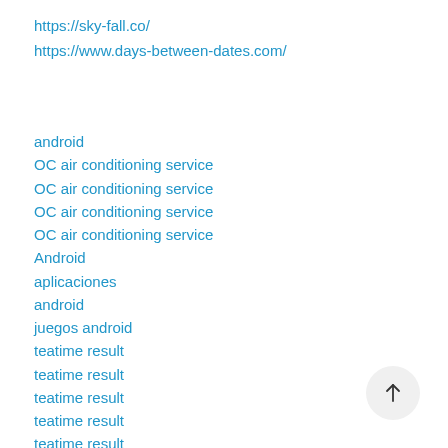https://sky-fall.co/
https://www.days-between-dates.com/
android
OC air conditioning service
OC air conditioning service
OC air conditioning service
OC air conditioning service
Android
aplicaciones
android
juegos android
teatime result
teatime result
teatime result
teatime result
teatime result